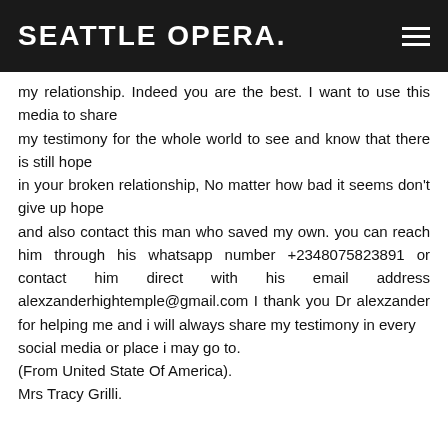SEATTLE OPERA.
my relationship. Indeed you are the best. I want to use this media to share my testimony for the whole world to see and know that there is still hope in your broken relationship, No matter how bad it seems don't give up hope and also contact this man who saved my own. you can reach him through his whatsapp number +2348075823891 or contact him direct with his email address alexzanderhightemple@gmail.com I thank you Dr alexzander for helping me and i will always share my testimony in every social media or place i may go to. (From United State Of America). Mrs Tracy Grilli.